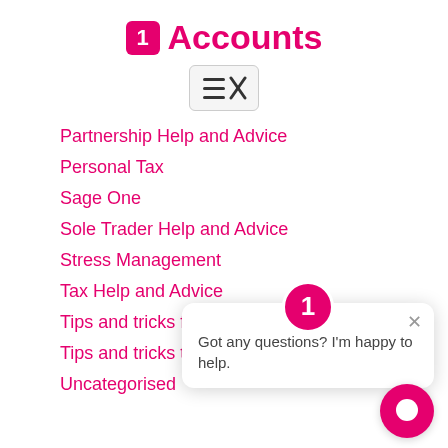1 Accounts
[Figure (screenshot): Menu/close icon button in a light gray rounded box]
Partnership Help and Advice
Personal Tax
Sage One
Sole Trader Help and Advice
Stress Management
Tax Help and Advice
Tips and tricks for g...
Tips and tricks to improve workflow
Uncategorised
[Figure (screenshot): Chat popup with '1' badge and message: Got any questions? I'm happy to help. With close X button.]
[Figure (screenshot): Pink circular chat button with speech bubble icon at bottom right]